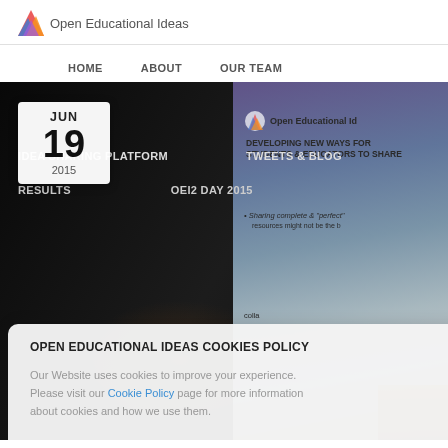Open Educational Ideas
HOME   ABOUT   OUR TEAM
[Figure (photo): Presentation photo showing a speaker at a conference with a projected screen displaying 'Open Educational Ideas — Developing new ways for students & educators to share'. Date badge shows JUN 19 2015. Navigation overlay shows: IDEA SHARING PLATFORM, TWEETS & BLOG, RESULTS, OEI2 DAY 2015]
OPEN EDUCATIONAL IDEAS COOKIES POLICY

Our Website uses cookies to improve your experience. Please visit our Cookie Policy page for more information about cookies and how we use them.